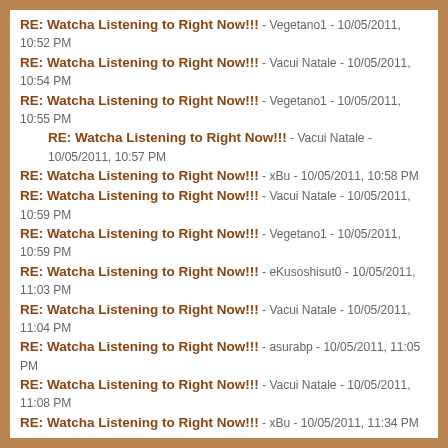RE: Watcha Listening to Right Now!!! - Vegetano1 - 10/05/2011, 10:52 PM
RE: Watcha Listening to Right Now!!! - Vacui Natale - 10/05/2011, 10:54 PM
RE: Watcha Listening to Right Now!!! - Vegetano1 - 10/05/2011, 10:55 PM
RE: Watcha Listening to Right Now!!! - Vacui Natale - 10/05/2011, 10:57 PM
RE: Watcha Listening to Right Now!!! - xBu - 10/05/2011, 10:58 PM
RE: Watcha Listening to Right Now!!! - Vacui Natale - 10/05/2011, 10:59 PM
RE: Watcha Listening to Right Now!!! - Vegetano1 - 10/05/2011, 10:59 PM
RE: Watcha Listening to Right Now!!! - eKusoshisut0 - 10/05/2011, 11:03 PM
RE: Watcha Listening to Right Now!!! - Vacui Natale - 10/05/2011, 11:04 PM
RE: Watcha Listening to Right Now!!! - asurabp - 10/05/2011, 11:05 PM
RE: Watcha Listening to Right Now!!! - Vacui Natale - 10/05/2011, 11:08 PM
RE: Watcha Listening to Right Now!!! - xBu - 10/05/2011, 11:34 PM
RE: Watcha Listening to Right Now!!! - asurabp - 11/05/2011, 12:11 AM
RE: Watcha Listening to Right Now!!! - Bou-kun - 11/05/2011, 01:24 AM
RE: Watcha Listening to Right Now!!! - Vacui Natale - 11/05/2011, 02:54 AM